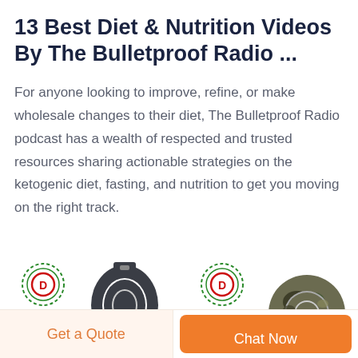13 Best Diet & Nutrition Videos By The Bulletproof Radio ...
For anyone looking to improve, refine, or make wholesale changes to their diet, The Bulletproof Radio podcast has a wealth of respected and trusted resources sharing actionable strategies on the ketogenic diet, fasting, and nutrition to get you moving on the right track.
[Figure (photo): Two product thumbnail images showing DEEKON branded hardware items — a round metal ring buckle and a camouflage pattern ring buckle, each with the DEEKON logo above]
Get a Quote   Chat Now